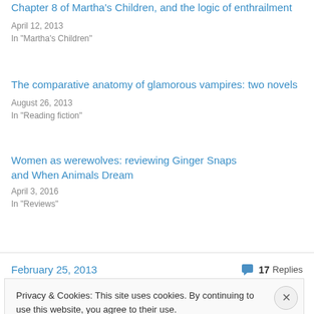Chapter 8 of Martha's Children, and the logic of enthrailment
April 12, 2013
In "Martha's Children"
The comparative anatomy of glamorous vampires: two novels
August 26, 2013
In "Reading fiction"
Women as werewolves: reviewing Ginger Snaps and When Animals Dream
April 3, 2016
In "Reviews"
February 25, 2013   17 Replies
Privacy & Cookies: This site uses cookies. By continuing to use this website, you agree to their use.
To find out more, including how to control cookies, see here: Cookie Policy
Close and accept